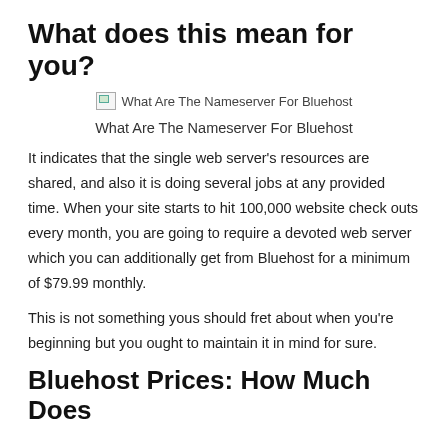What does this mean for you?
[Figure (photo): Broken image placeholder labeled 'What Are The Nameserver For Bluehost']
What Are The Nameserver For Bluehost
It indicates that the single web server’s resources are shared, and also it is doing several jobs at any provided time. When your site starts to hit 100,000 website check outs every month, you are going to require a devoted web server which you can additionally get from Bluehost for a minimum of $79.99 monthly.
This is not something yous should fret about when you’re beginning but you ought to maintain it in mind for sure.
Bluehost Prices: How Much Does